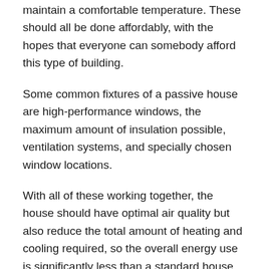maintain a comfortable temperature. These should all be done affordably, with the hopes that everyone can somebody afford this type of building.
Some common fixtures of a passive house are high-performance windows, the maximum amount of insulation possible, ventilation systems, and specially chosen window locations.
With all of these working together, the house should have optimal air quality but also reduce the total amount of heating and cooling required, so the overall energy use is significantly less than a standard house.
How Does A Passive House Work?